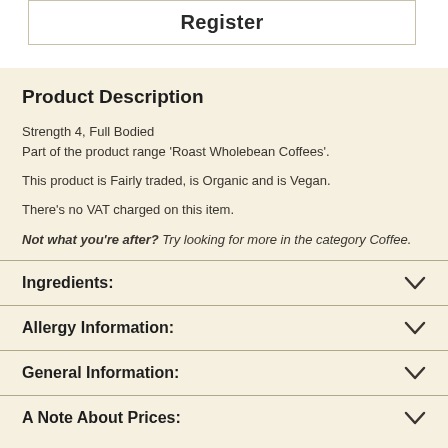Register
Product Description
Strength 4, Full Bodied
Part of the product range 'Roast Wholebean Coffees'.
This product is Fairly traded, is Organic and is Vegan.
There's no VAT charged on this item.
Not what you're after? Try looking for more in the category Coffee.
Ingredients:
Allergy Information:
General Information:
A Note About Prices: